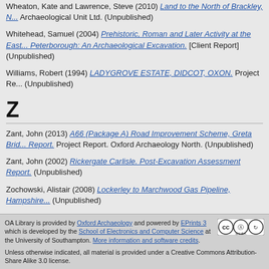Wheaton, Kate and Lawrence, Steve (2010) Land to the North of Brackley, N... Archaeological Unit Ltd. (Unpublished)
Whitehead, Samuel (2004) Prehistoric, Roman and Later Activity at the East... Peterborough: An Archaeological Excavation. [Client Report] (Unpublished)
Williams, Robert (1994) LADYGROVE ESTATE, DIDCOT, OXON. Project Re... (Unpublished)
Z
Zant, John (2013) A66 (Package A) Road Improvement Scheme, Greta Brid... Report. Project Report. Oxford Archaeology North. (Unpublished)
Zant, John (2002) Rickergate Carlisle. Post-Excavation Assessment Report. (Unpublished)
Zochowski, Alistair (2008) Lockerley to Marchwood Gas Pipeline, Hampshire... (Unpublished)
This list
OA Library is provided by Oxford Archaeology and powered by EPrints 3 which is developed by the School of Electronics and Computer Science at the University of Southampton. More information and software credits. Unless otherwise indicated, all material is provided under a Creative Commons Attribution-Share Alike 3.0 license.